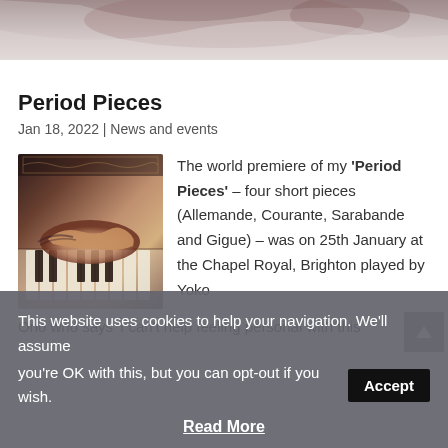[Figure (photo): Top decorative image strip showing abstract or musical instrument texture in muted red/brown tones]
Period Pieces
Jan 18, 2022 | News and events
[Figure (photo): Photo of hands playing a harpsichord or piano with ornate wooden casing, warm brown tones]
The world premiere of my ‘Period Pieces’ – four short pieces (Allemande, Courante, Sarabande and Gigue) – was on 25th January at the Chapel Royal, Brighton played by Yoko Ono who says ‘I can’t help feeling personal with this
This website uses cookies to help your navigation. We’ll assume you’re OK with this, but you can opt-out if you wish.
Accept
Read More